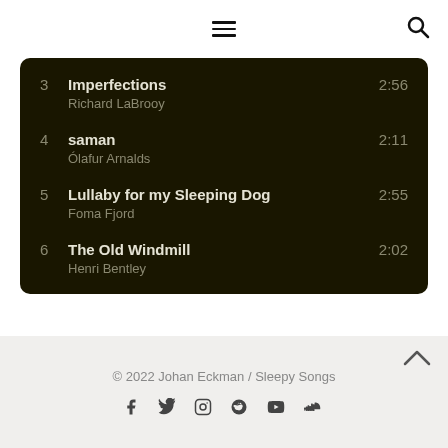Navigation header with hamburger menu and search icon
3  Imperfections  Richard LaBrooy  2:56
4  saman  Ólafur Arnalds  2:11
5  Lullaby for my Sleeping Dog  Foma Fjord  2:55
6  The Old Windmill  Henri Bentley  2:02
© 2022 Johan Eckman / Sleepy Songs